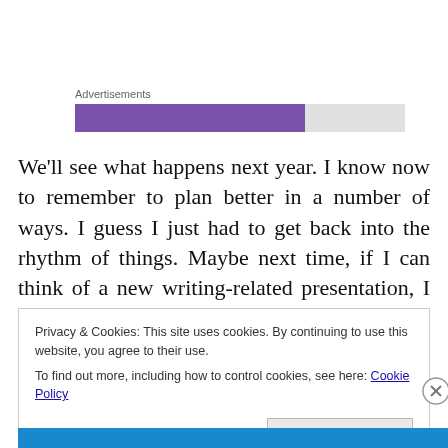[Figure (other): Advertisements label with a horizontal progress/ad bar: purple section on left (~70%) and light gray on right (~30%)]
We'll see what happens next year. I know now to remember to plan better in a number of ways. I guess I just had to get back into the rhythm of things. Maybe next time, if I can think of a new writing-related presentation, I can give it then. It is time to think up some new topics for presentation.
Privacy & Cookies: This site uses cookies. By continuing to use this website, you agree to their use.
To find out more, including how to control cookies, see here: Cookie Policy